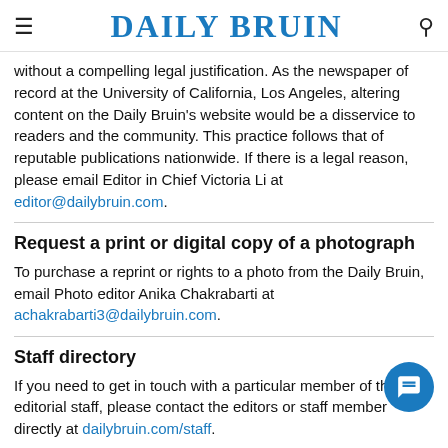DAILY BRUIN
without a compelling legal justification. As the newspaper of record at the University of California, Los Angeles, altering content on the Daily Bruin's website would be a disservice to readers and the community. This practice follows that of reputable publications nationwide. If there is a legal reason, please email Editor in Chief Victoria Li at editor@dailybruin.com.
Request a print or digital copy of a photograph
To purchase a reprint or rights to a photo from the Daily Bruin, email Photo editor Anika Chakrabarti at achakrabarti3@dailybruin.com.
Staff directory
If you need to get in touch with a particular member of the editorial staff, please contact the editors or staff member directly at dailybruin.com/staff.
Subscribing to the Daily Bruin